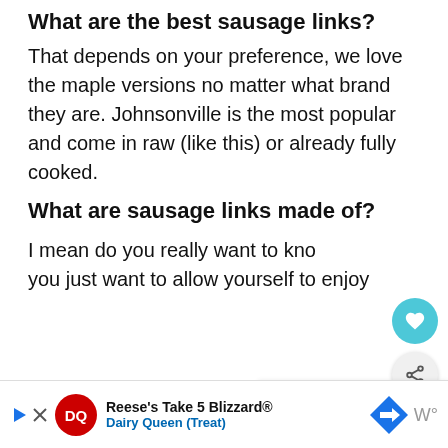What are the best sausage links?
That depends on your preference, we love the maple versions no matter what brand they are. Johnsonville is the most popular and come in raw (like this) or already fully cooked.
What are sausage links made of?
I mean do you really want to kno... you just want to allow yourself to enjoy
[Figure (other): What's Next overlay with food image showing 'The Best Ninja Foodi...' label]
[Figure (other): Dairy Queen advertisement banner: Reese's Take 5 Blizzard® Dairy Queen (Treat)]